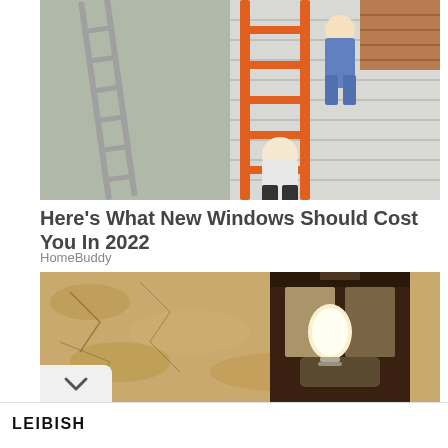[Figure (photo): People working on a house with an orange ladder leaning against white siding]
Here's What New Windows Should Cost You In 2022
HomeBuddy
[Figure (photo): Close-up of an outdoor wall lantern against a textured stucco wall]
[Figure (other): Leibish advertisement: Leibish Citrine Briolette Yellow Gemstone Pair 19.65 Ct, $800, BUY NOW button, with two yellow-green teardrop gemstones]